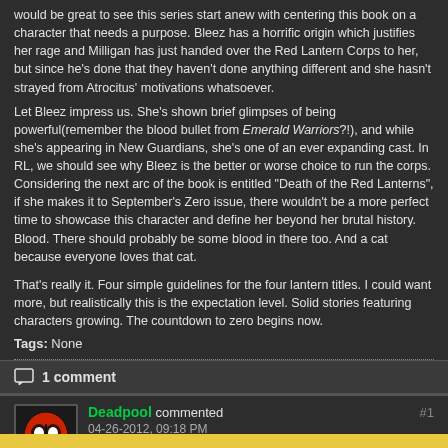would be great to see this series start anew with centering this book on a character that needs a purpose. Bleez has a horrific origin which justifies her rage and Milligan has just handed over the Red Lantern Corps to her, but since he's done that they haven't done anything different and she hasn't strayed from Atrocitus' motivations whatsoever.
Let Bleez impress us. She's shown brief glimpses of being powerful(remember the blood bullet from Emerald Warriors?!), and while she's appearing in New Guardians, she's one of an ever expanding cast. In RL, we should see why Bleez is the better or worse choice to run the corps. Considering the next arc of the book is entitled "Death of the Red Lanterns", if she makes it to September's Zero issue, there wouldn't be a more perfect time to showcase this character and define her beyond her brutal history. Blood. There should probably be some blood in there too. And a cat because everyone loves that cat.
That's really it. Four simple guidelines for the four lantern titles. I could want more, but realistically this is the expectation level. Solid stories featuring characters growing. The countdown to zero begins now.
Tags: None
1 comment
Deadpool commented 04-26-2012, 09:18 PM #1
They all sound great. I'd love to see Bleezes origin and a story about Abin and Sinestro. That'd be realy interesting.